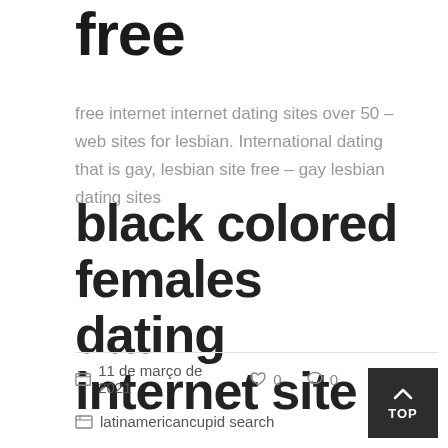free
free internet internet dating sites over 50 – web sites for lesbian. International dating that is gay, lesbian site free – gay lesbian dating sites
black colored females dating internet site
11 de março de 2021   0   0
latinamericancupid search